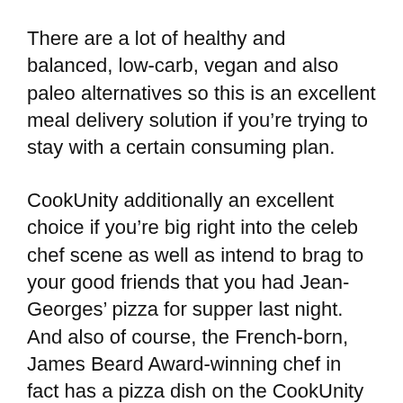There are a lot of healthy and balanced, low-carb, vegan and also paleo alternatives so this is an excellent meal delivery solution if you're trying to stay with a certain consuming plan.
CookUnity additionally an excellent choice if you're big right into the celeb chef scene as well as intend to brag to your good friends that you had Jean-Georges' pizza for supper last night. And also of course, the French-born, James Beard Award-winning chef in fact has a pizza dish on the CookUnity food selection. Go figure.
Who is CookUnity not